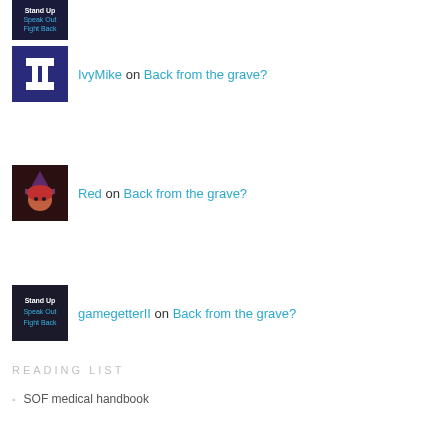[Figure (photo): Avatar: Stand Up Speak Out Fight Back black background logo]
IvyMike on Back from the grave?
[Figure (photo): Avatar: IvyMike purple background with white letter I icon]
Red on Back from the grave?
[Figure (photo): Avatar: Red anime witch character with red hair and purple hat]
gamegetterII on Back from the grave?
[Figure (photo): Avatar: Stand Up Speak Out Fight Back dark background logo]
READING LIST
SOF medical handbook
Where there is no doctor – and other resources
FOLLOW ME ON TWITTER
My Tweets
[Figure (logo): Site Meter logo/image]